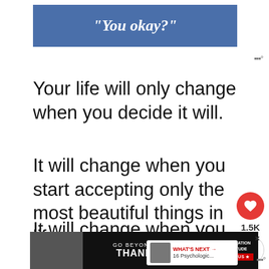[Figure (other): Blue banner advertisement with text 'You okay?' in white italic bold font]
Your life will only change when you decide it will.
It will change when you start accepting only the most beautiful things in life.
It will change when you start accepting the love that inspires you instead of a mediocre one. Start changing it. Be the
[Figure (other): Bottom advertisement banner: GO BEYOND SAYING THANK YOU - Operation Gratitude JOIN US]